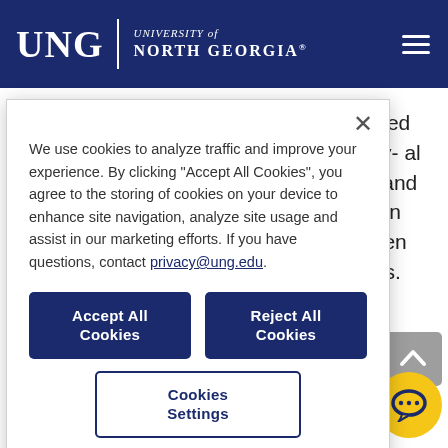[Figure (screenshot): University of North Georgia (UNG) website header with navy blue background, UNG logo with university name, and hamburger menu icon on the right]
ts were glad ted as CLS a fully- al immersion e and den the base critical between the r countries.
We use cookies to analyze traffic and improve your experience. By clicking "Accept All Cookies", you agree to the storing of cookies on your device to enhance site navigation, analyze site usage and assist in our marketing efforts. If you have questions, contact privacy@ung.edu.
Accept All Cookies
Reject All Cookies
Cookies Settings
unced in
ee in E on i lea
a degree in